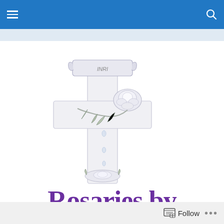[Figure (illustration): A decorative Christian cross with an INRI banner at the top, a rose with leaves draped across the crossbar, teardrops falling below the crossbar, and a small decorative ornament at the base. The illustration is rendered in light gray tones.]
Rosaries by Speziale